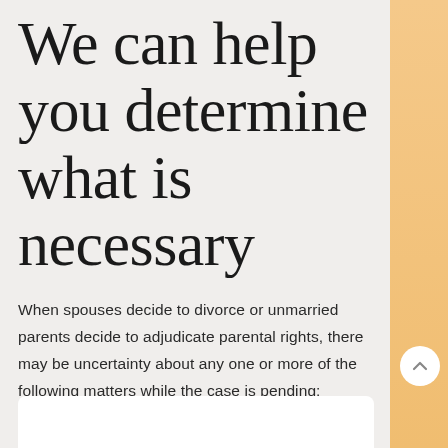We can help you determine what is necessary
When spouses decide to divorce or unmarried parents decide to adjudicate parental rights, there may be uncertainty about any one or more of the following matters while the case is pending: